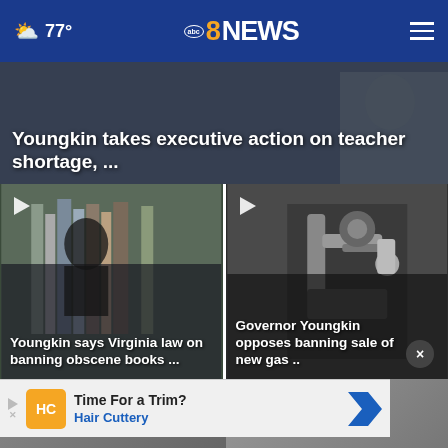77° abc8NEWS
[Figure (screenshot): Hero image with dark background showing Youngkin teacher shortage headline]
Youngkin takes executive action on teacher shortage, ...
[Figure (screenshot): Video thumbnail showing library bookshelves with headline about Youngkin and obscene books]
Youngkin says Virginia law on banning obscene books ...
[Figure (screenshot): Video thumbnail showing gas pump nozzle with headline about Governor Youngkin opposing banning sale of new gas]
Governor Youngkin opposes banning sale of new gas ..
[Figure (screenshot): Advertisement banner for Hair Cuttery: Time For a Trim? Hair Cuttery]
Time For a Trim? Hair Cuttery